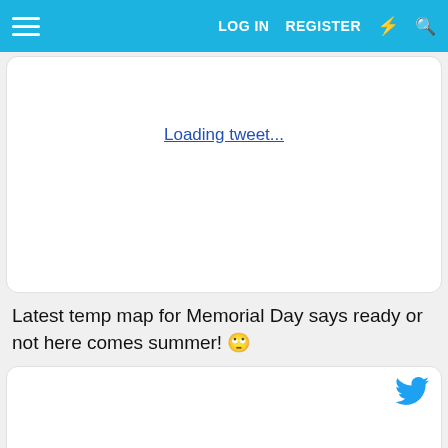LOG IN  REGISTER
[Figure (screenshot): Tweet embed card (top, partially visible) with 'Loading tweet...' link in center]
Latest temp map for Memorial Day says ready or not here comes summer! 🙄
[Figure (screenshot): Tweet embed card with Twitter bird icon in top-right and 'Loading tweet...' link in center]